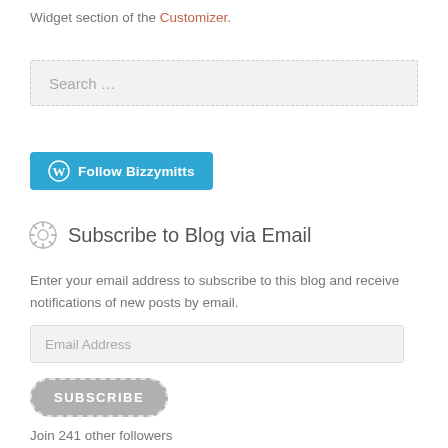Widget section of the Customizer.
[Figure (screenshot): Search input field with placeholder text 'Search ...' on light gray background]
[Figure (screenshot): Blue button with WordPress icon and text 'Follow Bizzymitts']
Subscribe to Blog via Email
Enter your email address to subscribe to this blog and receive notifications of new posts by email.
[Figure (screenshot): Email address input field with placeholder 'Email Address']
[Figure (screenshot): Gray rounded Subscribe button with dashed border outline]
Join 241 other followers